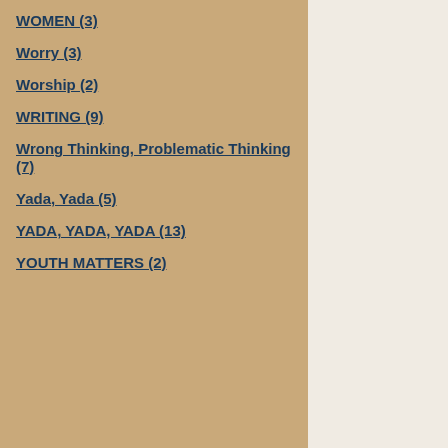WOMEN (3)
Worry (3)
Worship (2)
WRITING (9)
Wrong Thinking, Problematic Thinking (7)
Yada, Yada (5)
YADA, YADA, YADA (13)
YOUTH MATTERS (2)
[Figure (photo): Profile photo of a woman smiling, brown hair]
3  Sela